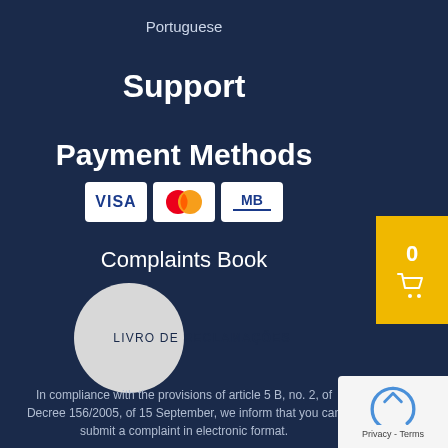Portuguese
Support
Payment Methods
[Figure (logo): Payment method icons: VISA, Mastercard, MB (Multibanco)]
Complaints Book
[Figure (logo): Livro de Reclamacoes circular logo with text LIVRO DE RECLAMACOES]
In compliance with the provisions of article 5 B, no. 2, of Decree 156/2005, of 15 September, we inform that you can submit a complaint in electronic format.